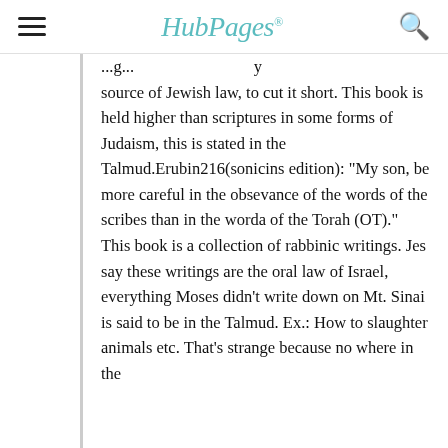HubPages
source of Jewish law, to cut it short. This book is held higher than scriptures in some forms of Judaism, this is stated in the Talmud.Erubin216(sonicins edition): "My son, be more careful in the obsevance of the words of the scribes than in the worda of the Torah (OT)." This book is a collection of rabbinic writings. Jes say these writings are the oral law of Israel, everything Moses didn't write down on Mt. Sinai is said to be in the Talmud. Ex.: How to slaughter animals etc. That's strange because no where in the